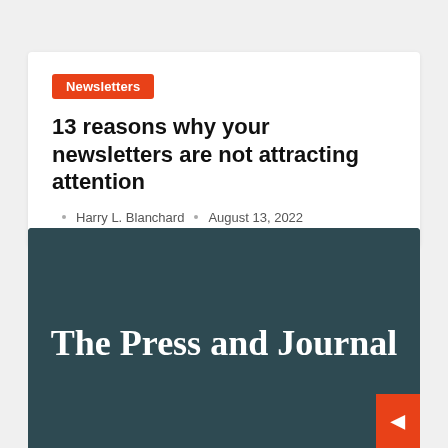Newsletters
13 reasons why your newsletters are not attracting attention
Harry L. Blanchard   August 13, 2022
[Figure (logo): The Press and Journal newspaper logo in white serif blackletter font on a dark teal/slate background]